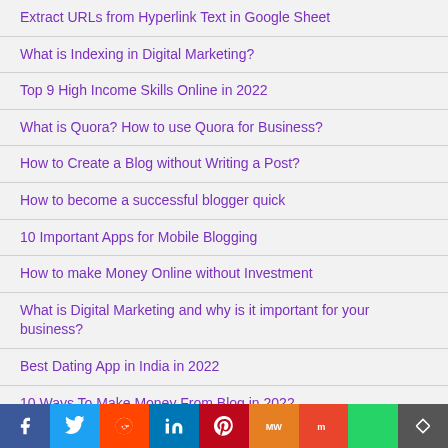Extract URLs from Hyperlink Text in Google Sheet
What is Indexing in Digital Marketing?
Top 9 High Income Skills Online in 2022
What is Quora? How to use Quora for Business?
How to Create a Blog without Writing a Post?
How to become a successful blogger quick
10 Important Apps for Mobile Blogging
How to make Money Online without Investment
What is Digital Marketing and why is it important for your business?
Best Dating App in India in 2022
10 Ways To Make Money From Blog in 2022